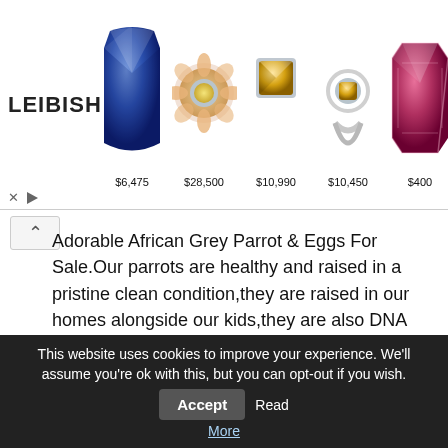[Figure (other): Leibish jewelry advertisement banner showing logo and 5 gemstone/jewelry items with prices: $6,475, $28,500, $10,990, $10,450, $400]
Adorable African Grey Parrot & Eggs For Sale.Our parrots are healthy and raised in a pristine clean condition,they are raised in our homes alongside our kids,they are also DNA tested,social,very friendly with kids and other home pets and will make a very good addition to any lovely family. For more information please email us through (jorgebirdshome@gmail.com)
Reply ↓
This website uses cookies to improve your experience. We'll assume you're ok with this, but you can opt-out if you wish. Accept Read More